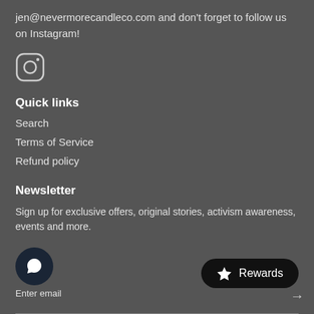jen@nevermorecandleco.com and don't forget to follow us on Instagram!
[Figure (illustration): Instagram logo icon - rounded square outline with circle and dot inside]
Quick links
Search
Terms of Service
Refund policy
Newsletter
Sign up for exclusive offers, original stories, activism awareness, events and more.
[Figure (illustration): Chat bubble icon in dark circular button, with 'Enter email' text below]
[Figure (illustration): Rewards button - black pill shape with star icon and 'Rewards' text]